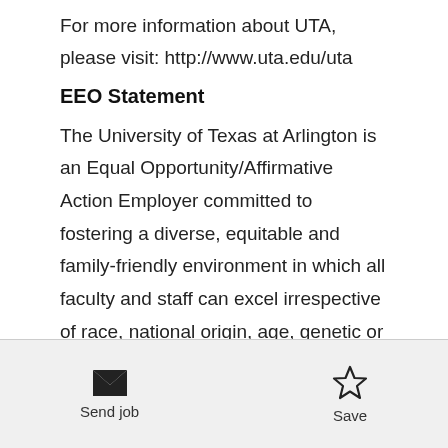For more information about UTA, please visit: http://www.uta.edu/uta
EEO Statement
The University of Texas at Arlington is an Equal Opportunity/Affirmative Action Employer committed to fostering a diverse, equitable and family-friendly environment in which all faculty and staff can excel irrespective of race, national origin, age, genetic or family medical history, gender, faith, gender identity and expression as well as sexual orientation. A criminal background check will be conducted on
Send job | Save